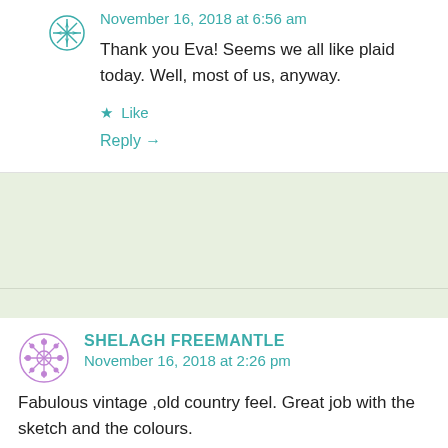[Figure (illustration): Small teal decorative snowflake/star avatar icon at top left]
November 16, 2018 at 6:56 am
Thank you Eva! Seems we all like plaid today. Well, most of us, anyway.
★ Like
Reply →
[Figure (illustration): Purple decorative snowflake/mandala avatar icon for Shelagh Freemantle]
SHELAGH FREEMANTLE
November 16, 2018 at 2:26 pm
Fabulous vintage ,old country feel. Great job with the sketch and the colours.
★ Like
Reply →